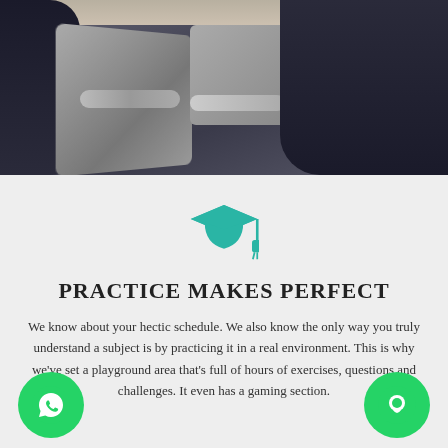[Figure (photo): Photo of a person sitting in office chairs near a desk, dark clothing visible]
[Figure (illustration): Teal/green graduation cap icon]
PRACTICE MAKES PERFECT
We know about your hectic schedule. We also know the only way you truly understand a subject is by practicing it in a real environment. This is why we've set a playground area that's full of hours of exercises, questions and challenges. It even has a gaming section.